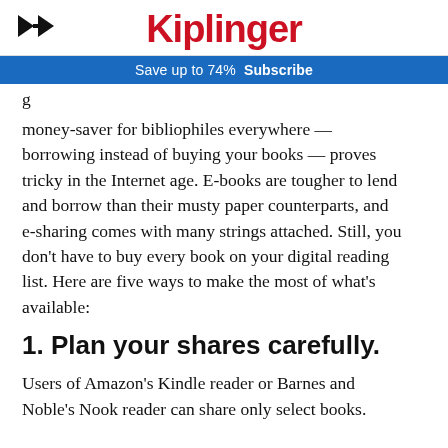Kiplinger
Save up to 74%  Subscribe
money-saver for bibliophiles everywhere — borrowing instead of buying your books — proves tricky in the Internet age. E-books are tougher to lend and borrow than their musty paper counterparts, and e-sharing comes with many strings attached. Still, you don't have to buy every book on your digital reading list. Here are five ways to make the most of what's available:
1. Plan your shares carefully.
Users of Amazon's Kindle reader or Barnes and Noble's Nook reader can share only select books.